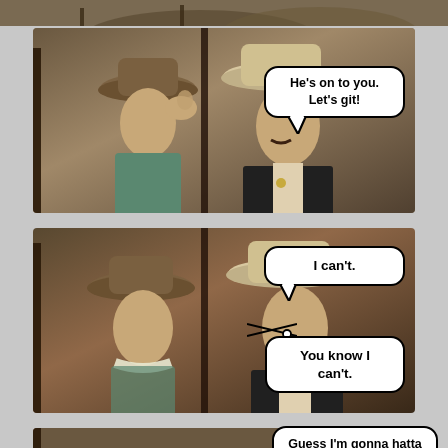[Figure (photo): Top strip: partial view of two cowboys from a western film, cropped at top of page]
[Figure (photo): Panel 2: Two men in cowboy hats from a western film. Speech bubble says 'He's on to you. Let's git!']
He's on to you. Let's git!
[Figure (photo): Panel 3: Same two men in cowboy hats. Two speech bubbles: 'I can't.' and 'You know I can't.']
I can't.
You know I can't.
[Figure (photo): Panel 4 (partial): Same western scene. Speech bubble says 'Guess I'm gonna hatta shoot you Mister.']
Guess I'm gonna hatta shoot you Mister.